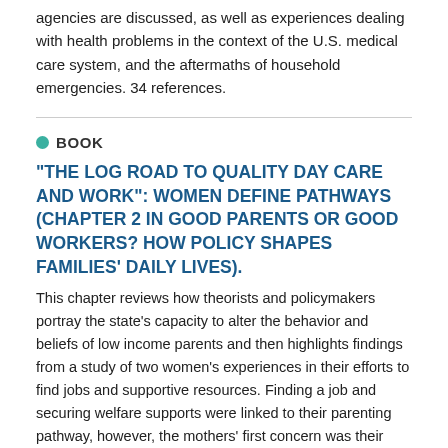agencies are discussed, as well as experiences dealing with health problems in the context of the U.S. medical care system, and the aftermaths of household emergencies. 34 references.
BOOK
"THE LOG ROAD TO QUALITY DAY CARE AND WORK": WOMEN DEFINE PATHWAYS (CHAPTER 2 IN GOOD PARENTS OR GOOD WORKERS? HOW POLICY SHAPES FAMILIES' DAILY LIVES).
This chapter reviews how theorists and policymakers portray the state's capacity to alter the behavior and beliefs of low income parents and then highlights findings from a study of two women's experiences in their efforts to find jobs and supportive resources. Finding a job and securing welfare supports were linked to their parenting pathway, however, the mothers' first concern was their children's well-being. The chapter concludes by exploring whether the motivating